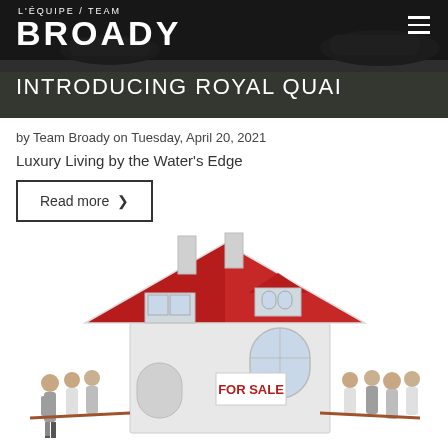[Figure (photo): Header banner with Team Broady logo on dark background with subtitle INTRODUCING ROYAL QUAI and hamburger menu icon]
by Team Broady on Tuesday, April 20, 2021
Luxury Living by the Water's Edge
Read more >
[Figure (illustration): Illustration of a house with a red roof and a FOR SALE sign, with groups of people on each side pulling a rope in a tug-of-war style]